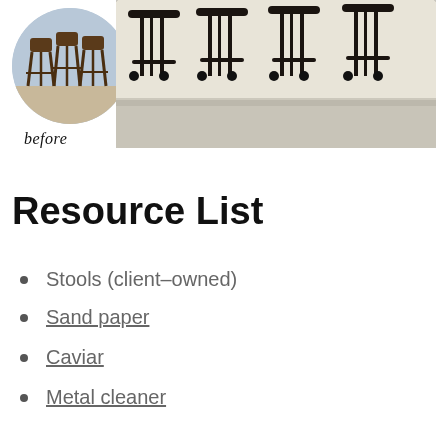[Figure (photo): Before and after photos of bar stools. Left: circular inset photo labeled 'before' showing brown wooden bar stools. Right: rectangular photo showing four black painted bar stools lined up against a white garage wall.]
Resource List
Stools (client-owned)
Sand paper
Caviar
Metal cleaner